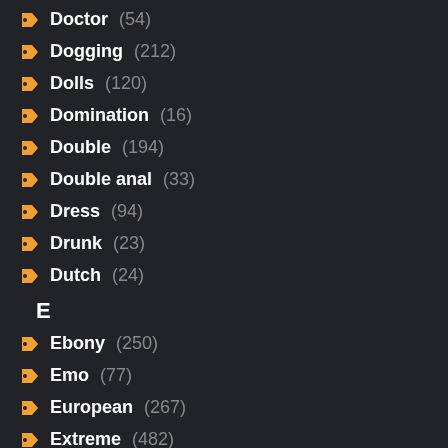Doctor (54)
Dogging (212)
Dolls (120)
Domination (16)
Double (194)
Double anal (33)
Dress (94)
Drunk (23)
Dutch (24)
E
Ebony (250)
Emo (77)
European (267)
Extreme (482)
F
Face Sitting (17)
Facial (353)